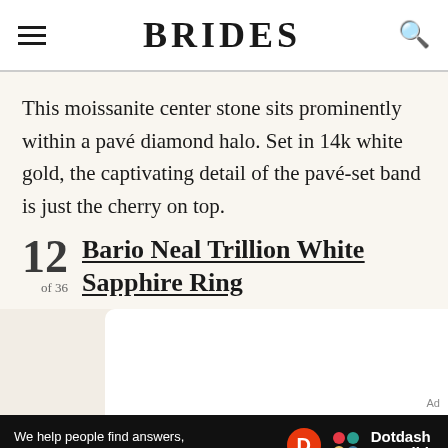BRIDES
This moissanite center stone sits prominently within a pavé diamond halo. Set in 14k white gold, the captivating detail of the pavé-set band is just the cherry on top.
12 of 56 Bario Neal Trillion White Sapphire Ring
[Figure (photo): Bottom portion of a ring product photo showing a gold/white sapphire ring on a light background]
We help people find answers, solve problems and get inspired. Dotdash meredith